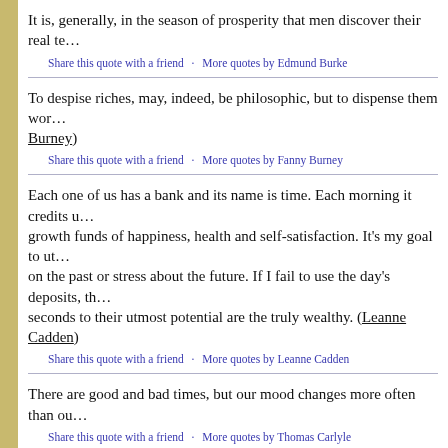It is, generally, in the season of prosperity that men discover their real te…
Share this quote with a friend · More quotes by Edmund Burke
To despise riches, may, indeed, be philosophic, but to dispense them wor… (Fanny Burney)
Share this quote with a friend · More quotes by Fanny Burney
Each one of us has a bank and its name is time. Each morning it credits u… growth funds of happiness, health and self-satisfaction. It's my goal to ut… on the past or stress about the future. If I fail to use the day's deposits, th… seconds to their utmost potential are the truly wealthy. (Leanne Cadden)
Share this quote with a friend · More quotes by Leanne Cadden
There are good and bad times, but our mood changes more often than ou…
Share this quote with a friend · More quotes by Thomas Carlyle
No man can become rich without himself enriching others. (Andrew Car…)
Share this quote with a friend · More quotes by Andrew Carnegie